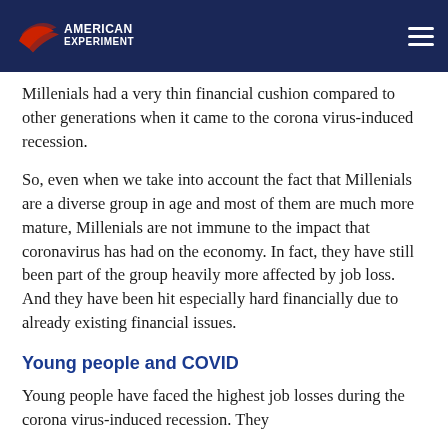American Experiment
Millenials had a very thin financial cushion compared to other generations when it came to the corona virus-induced recession.
So, even when we take into account the fact that Millenials are a diverse group in age and most of them are much more mature, Millenials are not immune to the impact that coronavirus has had on the economy. In fact, they have still been part of the group heavily more affected by job loss. And they have been hit especially hard financially due to already existing financial issues.
Young people and COVID
Young people have faced the highest job losses during the corona virus-induced recession. They